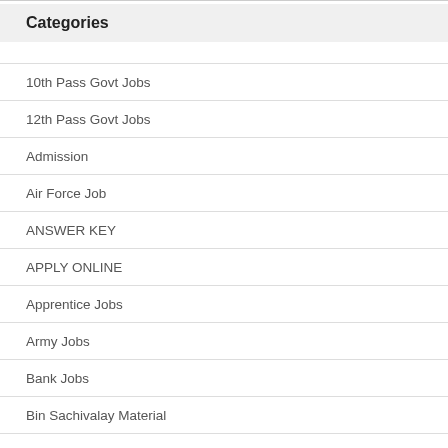Categories
10th Pass Govt Jobs
12th Pass Govt Jobs
Admission
Air Force Job
ANSWER KEY
APPLY ONLINE
Apprentice Jobs
Army Jobs
Bank Jobs
Bin Sachivalay Material
CALL LETTER
Clerk Jobs